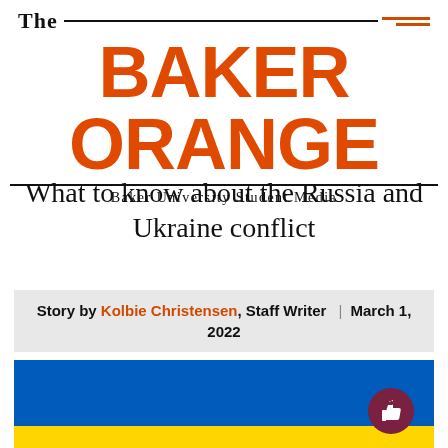The BAKER ORANGE — Baker University Student Media
What to know about the Russia and Ukraine conflict
Story by Kolbie Christensen, Staff Writer | March 1, 2022
[Figure (illustration): Ukrainian flag — top half blue, bottom strip yellow]